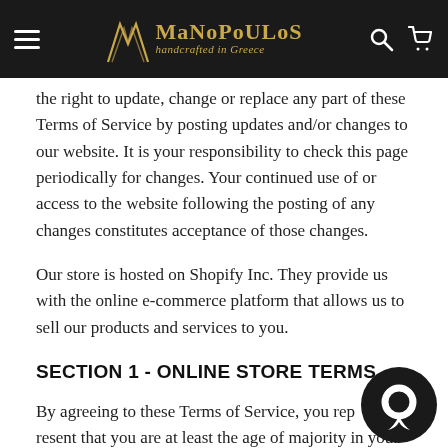MANOPOULOS handcrafted in Greece
the right to update, change or replace any part of these Terms of Service by posting updates and/or changes to our website. It is your responsibility to check this page periodically for changes. Your continued use of or access to the website following the posting of any changes constitutes acceptance of those changes.
Our store is hosted on Shopify Inc. They provide us with the online e-commerce platform that allows us to sell our products and services to you.
SECTION 1 - ONLINE STORE TERMS
By agreeing to these Terms of Service, you represent that you are at least the age of majority in your state or province of residence, or that you are the age of